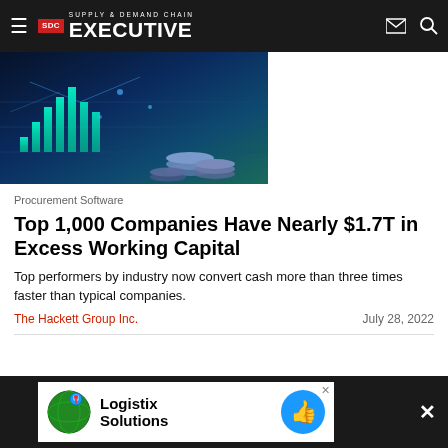SUPPLY & DEMAND CHAIN EXECUTIVE
[Figure (photo): Abstract financial technology image showing glowing bar charts and coins on a dark blue background]
Procurement Software
Top 1,000 Companies Have Nearly $1.7T in Excess Working Capital
Top performers by industry now convert cash more than three times faster than typical companies.
The Hackett Group Inc. — July 28, 2022
[Figure (other): Advertisement banner: Logistix Solutions with globe logo and thumbs up icon]